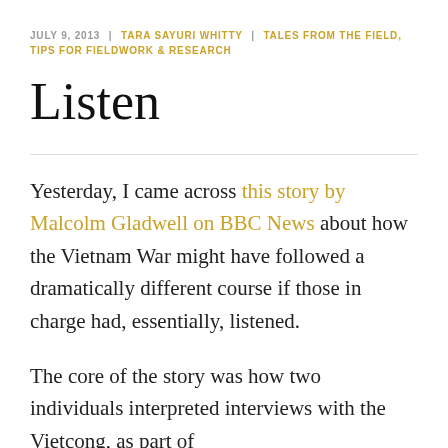JULY 9, 2013 | TARA SAYURI WHITTY | TALES FROM THE FIELD, TIPS FOR FIELDWORK & RESEARCH
Listen
Yesterday, I came across this story by Malcolm Gladwell on BBC News about how the Vietnam War might have followed a dramatically different course if those in charge had, essentially, listened.
The core of the story was how two individuals interpreted interviews with the Vietcong, as part of